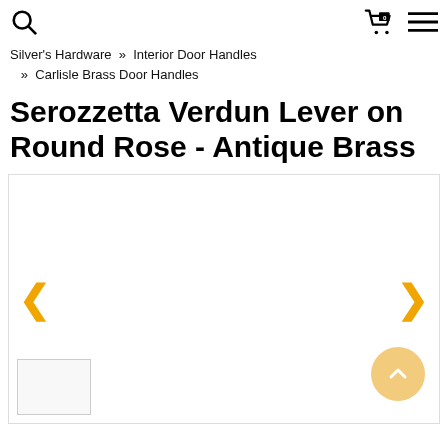Silver's Hardware » Interior Door Handles » Carlisle Brass Door Handles
Serozzetta Verdun Lever on Round Rose - Antique Brass
[Figure (photo): Product image carousel with left and right yellow navigation arrows, a scroll-up button in the bottom right, and a thumbnail strip at the bottom left. The main image area is blank/white.]